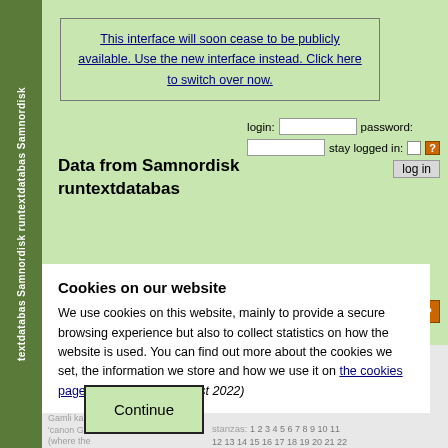Samnordisk runtextdatabas Samnordisk runtextdatabas (sidebar text)
This interface will soon cease to be publicly available. Use the new interface instead. Click here to switch over now.
Data from Samnordisk runtextdatabas
login: password: stay logged in: log in
Gamli kanóki (Gamlkan)
Harmsól ('Sun of Sorrow') — Gamlkan HasVII
12th century; Katrina Attwood 2007, 'Gamli kanóki, Harmsól' in...
stanzas: 1 2 3 4 5 6 7 8 9 10 11 12 13 14 15 16 17 18 19 20 21 22 23 24 25 26 27 28 29 30 31 32 33 34 35 36 37 38 39 40 41 42 43 44 45 46 47 48 49 50 51 52 53 54 55
Gamli kanóki 'canon Gamli' (where the name Gamli...)
Cookies on our website
We use cookies on this website, mainly to provide a secure browsing experience but also to collect statistics on how the website is used. You can find out more about the cookies we set, the information we store and how we use it on the cookies page. (accessed 22 August 2022)
Continue